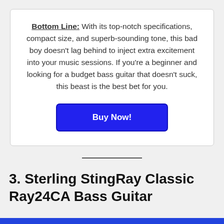Bottom Line: With its top-notch specifications, compact size, and superb-sounding tone, this bad boy doesn't lag behind to inject extra excitement into your music sessions. If you're a beginner and looking for a budget bass guitar that doesn't suck, this beast is the best bet for you.
[Figure (other): Blue 'Buy Now!' button]
[Figure (other): Horizontal divider line]
3. Sterling StingRay Classic Ray24CA Bass Guitar